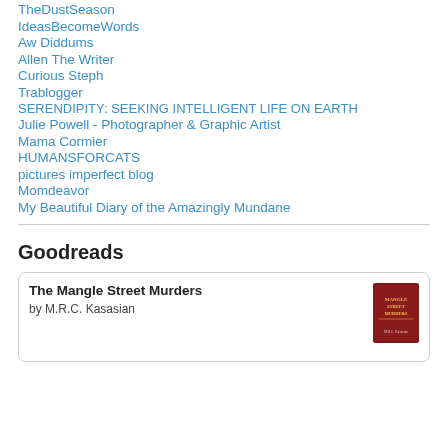TheDustSeason
IdeasBecomeWords
Aw Diddums
Allen The Writer
Curious Steph
Trablogger
SERENDIPITY: SEEKING INTELLIGENT LIFE ON EARTH
Julie Powell - Photographer & Graphic Artist
Mama Cormier
HUMANSFORCATS
pictures imperfect blog
Momdeavor
My Beautiful Diary of the Amazingly Mundane
Goodreads
The Mangle Street Murders by M.R.C. Kasasian